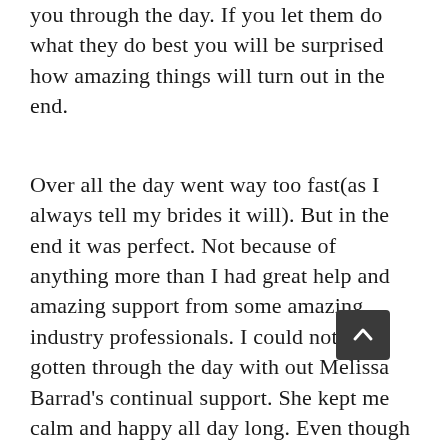you through the day. If you let them do what they do best you will be surprised how amazing things will turn out in the end.
Over all the day went way too fast(as I always tell my brides it will). But in the end it was perfect. Not because of anything more than I had great help and amazing support from some amazing industry professionals. I could not have gotten through the day with out Melissa Barrad's continual support. She kept me calm and happy all day long. Even though I am a planner myself I knew I would need help on the day of the wedding, and she and [continues...]